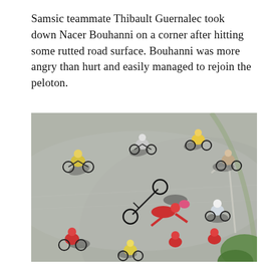Samsic teammate Thibault Guernalec took down Nacer Bouhanni on a corner after hitting some rutted road surface. Bouhanni was more angry than hurt and easily managed to rejoin the peloton.
[Figure (photo): Aerial view of a cycling peloton on a road, with a crash visible in the center where a bicycle and rider have fallen, with other cyclists riding around on grey asphalt. Shadows of cyclists visible. Green vegetation in bottom right corner.]